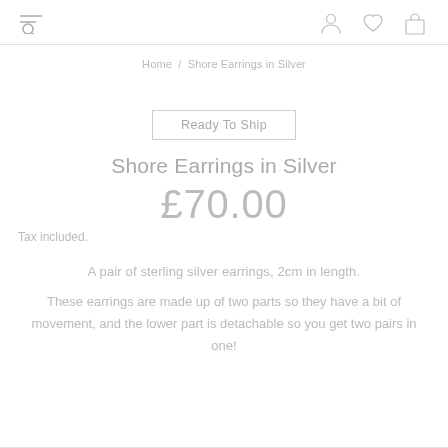Navigation header with menu, search, user, wishlist, and cart icons
Home / Shore Earrings in Silver
Ready To Ship
Shore Earrings in Silver
£70.00
Tax included.
A pair of sterling silver earrings, 2cm in length.
These earrings are made up of two parts so they have a bit of movement, and the lower part is detachable so you get two pairs in one!